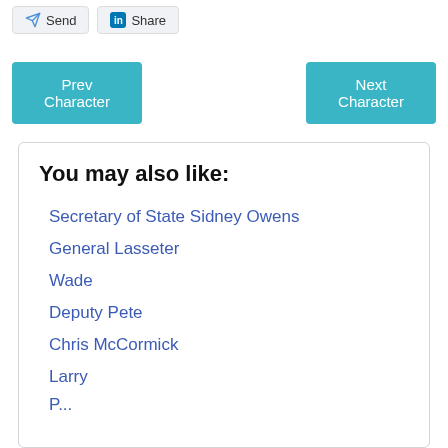[Figure (screenshot): Send and Share buttons at the top of the page]
[Figure (screenshot): Prev Character and Next Character navigation buttons]
You may also like:
Secretary of State Sidney Owens
General Lasseter
Wade
Deputy Pete
Chris McCormick
Larry
P...